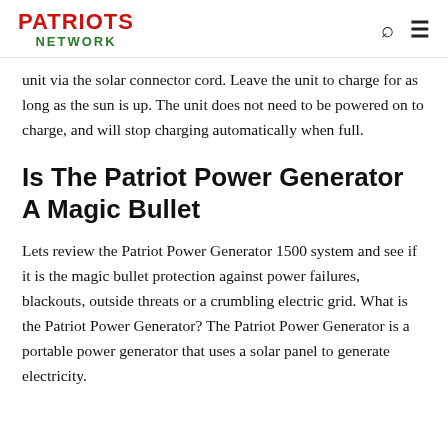PATRIOTS NETWORK
unit via the solar connector cord. Leave the unit to charge for as long as the sun is up. The unit does not need to be powered on to charge, and will stop charging automatically when full.
Is The Patriot Power Generator A Magic Bullet
Lets review the Patriot Power Generator 1500 system and see if it is the magic bullet protection against power failures, blackouts, outside threats or a crumbling electric grid. What is the Patriot Power Generator? The Patriot Power Generator is a portable power generator that uses a solar panel to generate electricity.